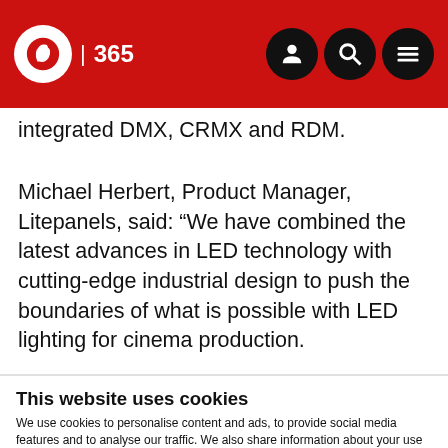IBC 365 | Navigation header with logo, search and menu icons
integrated DMX, CRMX and RDM.
Michael Herbert, Product Manager, Litepanels, said: “We have combined the latest advances in LED technology with cutting-edge industrial design to push the boundaries of what is possible with LED lighting for cinema production.
“Gem… (partially visible text)
This website uses cookies
We use cookies to personalise content and ads, to provide social media features and to analyse our traffic. We also share information about your use of our site with our social media, advertising and analytics partners who may combine it with other information that you’ve provided to them or that they’ve collected from your use of their services. You can opt out of certain types of cookies below before proceeding to the website.
Use necessary cookies only | Allow all cookies
Show details